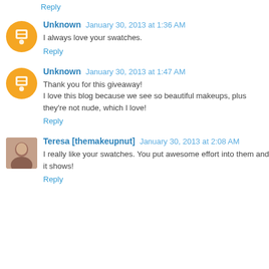Reply
Unknown January 30, 2013 at 1:36 AM
I always love your swatches.
Reply
Unknown January 30, 2013 at 1:47 AM
Thank you for this giveaway! I love this blog because we see so beautiful makeups, plus they're not nude, which I love!
Reply
Teresa [themakeupnut] January 30, 2013 at 2:08 AM
I really like your swatches. You put awesome effort into them and it shows!
Reply